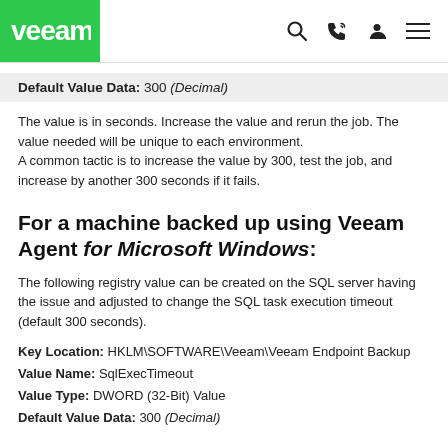Veeam [logo with navigation icons]
Default Value Data: 300 (Decimal)
The value is in seconds. Increase the value and rerun the job. The value needed will be unique to each environment.
A common tactic is to increase the value by 300, test the job, and increase by another 300 seconds if it fails.
For a machine backed up using Veeam Agent for Microsoft Windows:
The following registry value can be created on the SQL server having the issue and adjusted to change the SQL task execution timeout (default 300 seconds).
Key Location: HKLM\SOFTWARE\Veeam\Veeam Endpoint Backup
Value Name: SqlExecTimeout
Value Type: DWORD (32-Bit) Value
Default Value Data: 300 (Decimal)